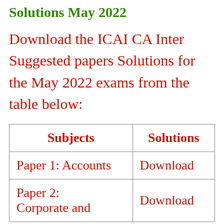Solutions May 2022
Download the ICAI CA Inter Suggested papers Solutions for the May 2022 exams from the table below:
| Subjects | Solutions |
| --- | --- |
| Paper 1: Accounts | Download |
| Paper 2: Corporate and | Download |